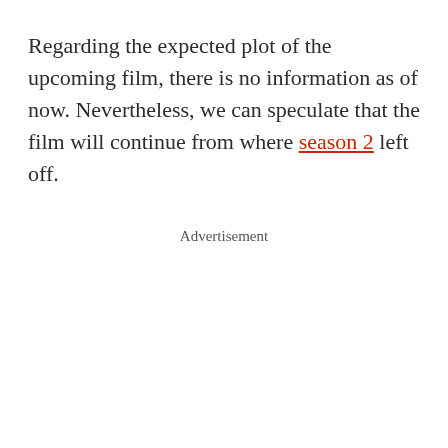Regarding the expected plot of the upcoming film, there is no information as of now. Nevertheless, we can speculate that the film will continue from where season 2 left off.
Advertisement